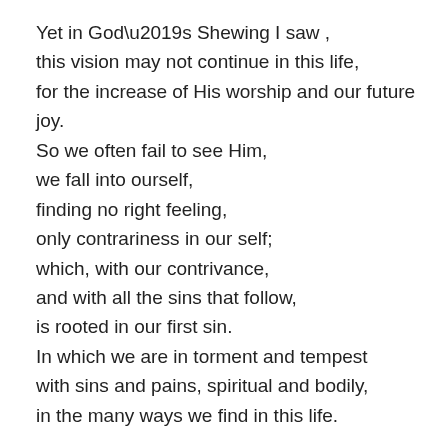Yet in God’s Shewing I saw ,
this vision may not continue in this life,
for the increase of His worship and our future joy.
So we often fail to see Him,
we fall into ourself,
finding no right feeling,
only contrariness in our self;
which, with our contrivance,
and with all the sins that follow,
is rooted in our first sin.
In which we are in torment and tempest
with sins and pains, spiritual and bodily,
in the many ways we find in this life.
Ch. 48
Off mercy and grace, and their properties; and how we